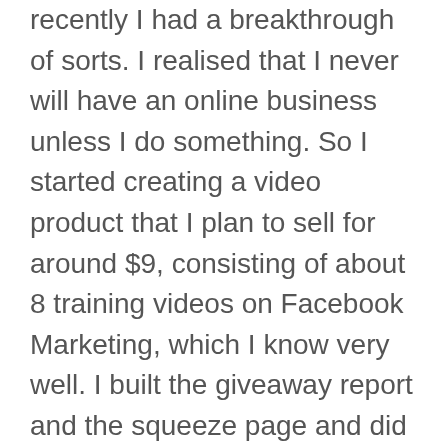recently I had a breakthrough of sorts. I realised that I never will have an online business unless I do something. So I started creating a video product that I plan to sell for around $9, consisting of about 8 training videos on Facebook Marketing, which I know very well. I built the giveaway report and the squeeze page and did a few videos already. But I still keep overanalysing and thinking and thinking instead of just getting on and doing it.